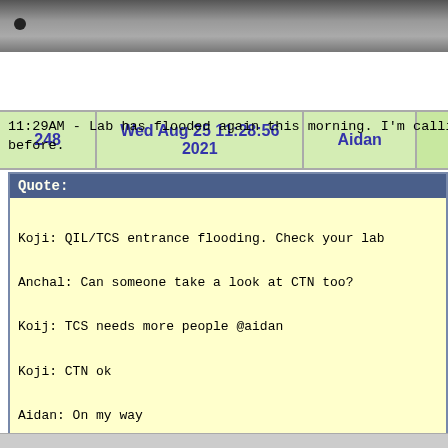[Figure (photo): Grayscale photo of laboratory equipment or metallic surface, partially visible at top of page]
| 248 | Wed Aug 25 11:28:56 2021 | Aidan |  |
| --- | --- | --- | --- |
11:29AM - Lab has flooded again this morning. I'm calli
before.
Quote:

Koji: QIL/TCS entrance flooding. Check your lab

Anchal: Can someone take a look at CTN too?

Koij: TCS needs more people @aidan

Koji: CTN ok

Aidan: On my way

Shruti: Cryo seems fine

Aidan: There was a leak in a pipe in the wall of B265A. It w
condensation overflow. Facilities has fixed the pipe and is